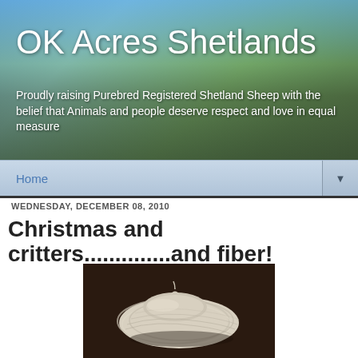OK Acres Shetlands
Proudly raising Purebred Registered Shetland Sheep with the belief that Animals and people deserve respect and love in equal measure
Home
WEDNESDAY, DECEMBER 08, 2010
Christmas and critters..............and fiber!
[Figure (photo): A skein of white/cream yarn on a dark brown surface]